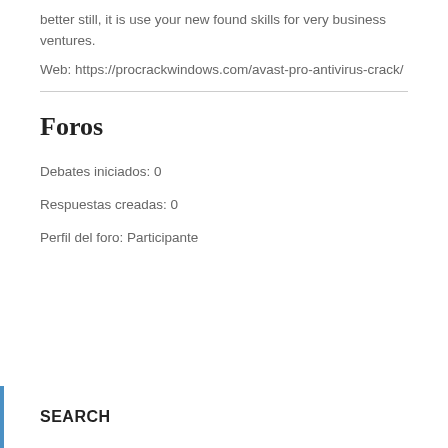better still, it is use your new found skills for very business ventures.
Web: https://procrackwindows.com/avast-pro-antivirus-crack/
Foros
Debates iniciados: 0
Respuestas creadas: 0
Perfil del foro: Participante
SEARCH